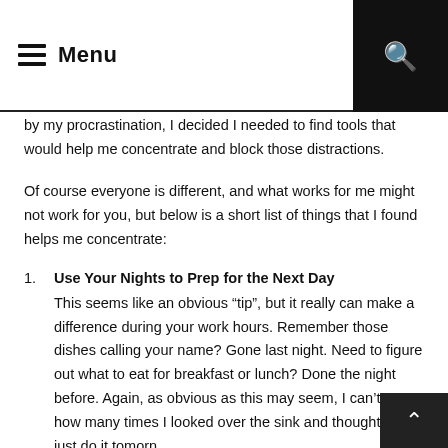Menu
by my procrastination, I decided I needed to find tools that would help me concentrate and block those distractions.
Of course everyone is different, and what works for me might not work for you, but below is a short list of things that I found helps me concentrate:
Use Your Nights to Prep for the Next Day
This seems like an obvious “tip”, but it really can make a difference during your work hours. Remember those dishes calling your name? Gone last night. Need to figure out what to eat for breakfast or lunch? Done the night before. Again, as obvious as this may seem, I can’t count how many times I looked over the sink and thought, “I’ll just do it tomorn and then found myself spending 1 to 2 hours a day cleaning